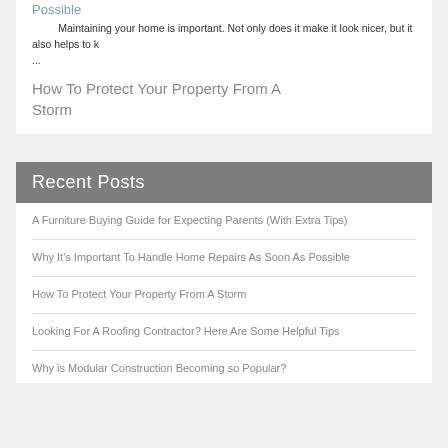Possible
Maintaining your home is important. Not only does it make it look nicer, but it also helps to k …
How To Protect Your Property From A Storm
Recent Posts
A Furniture Buying Guide for Expecting Parents (With Extra Tips)
Why It's Important To Handle Home Repairs As Soon As Possible
How To Protect Your Property From A Storm
Looking For A Roofing Contractor? Here Are Some Helpful Tips
Why is Modular Construction Becoming so Popular?